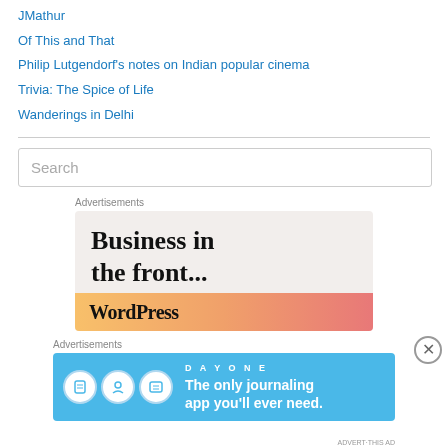JMathur
Of This and That
Philip Lutgendorf's notes on Indian popular cinema
Trivia: The Spice of Life
Wanderings in Delhi
Search
Advertisements
[Figure (screenshot): WordPress advertisement with text 'Business in the front...' on beige background with WordPress logo banner in gradient orange-pink]
Advertisements
[Figure (screenshot): Day One journaling app advertisement with blue background, app icons, and text 'The only journaling app you'll ever need.']